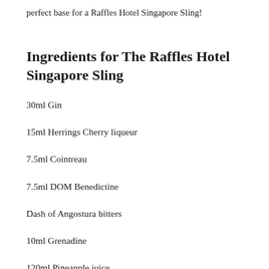perfect base for a Raffles Hotel Singapore Sling!
Ingredients for The Raffles Hotel Singapore Sling
30ml Gin
15ml Herrings Cherry liqueur
7.5ml Cointreau
7.5ml DOM Benedictine
Dash of Angostura bitters
10ml Grenadine
120ml Pineapple juice